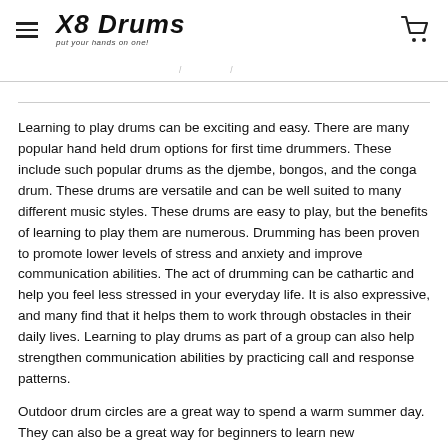X8 DRUMS
put your hands on one!
Learning to play drums can be exciting and easy. There are many popular hand held drum options for first time drummers. These include such popular drums as the djembe, bongos, and the conga drum. These drums are versatile and can be well suited to many different music styles. These drums are easy to play, but the benefits of learning to play them are numerous. Drumming has been proven to promote lower levels of stress and anxiety and improve communication abilities. The act of drumming can be cathartic and help you feel less stressed in your everyday life. It is also expressive, and many find that it helps them to work through obstacles in their daily lives. Learning to play drums as part of a group can also help strengthen communication abilities by practicing call and response patterns.
Outdoor drum circles are a great way to spend a warm summer day. They can also be a great way for beginners to learn new